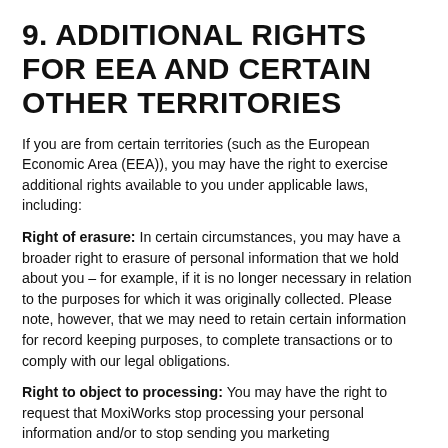9. ADDITIONAL RIGHTS FOR EEA AND CERTAIN OTHER TERRITORIES
If you are from certain territories (such as the European Economic Area (EEA)), you may have the right to exercise additional rights available to you under applicable laws, including:
Right of erasure: In certain circumstances, you may have a broader right to erasure of personal information that we hold about you – for example, if it is no longer necessary in relation to the purposes for which it was originally collected. Please note, however, that we may need to retain certain information for record keeping purposes, to complete transactions or to comply with our legal obligations.
Right to object to processing: You may have the right to request that MoxiWorks stop processing your personal information and/or to stop sending you marketing communications.
Right to restrict processing: You may have the right to request that we restrict processing of your personal information in certain circumstances (for example, where you believe that the